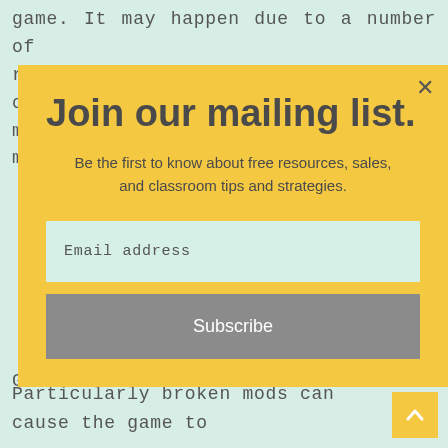game. It may happen due to a number of reasons: mods may conflict with each other, mods may use outdated textures, mods may
Join our mailing list.
Be the first to know about free resources, sales, and classroom tips and strategies.
Email address
Subscribe
Game crash zenonia5
Particularly broken mods can cause the game to